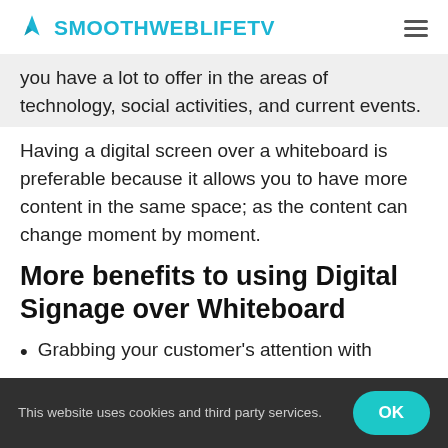SMOOTHWEBLIFETV
you have a lot to offer in the areas of technology, social activities, and current events.
Having a digital screen over a whiteboard is preferable because it allows you to have more content in the same space; as the content can change moment by moment.
More benefits to using Digital Signage over Whiteboard
Grabbing your customer's attention with
This website uses cookies and third party services.